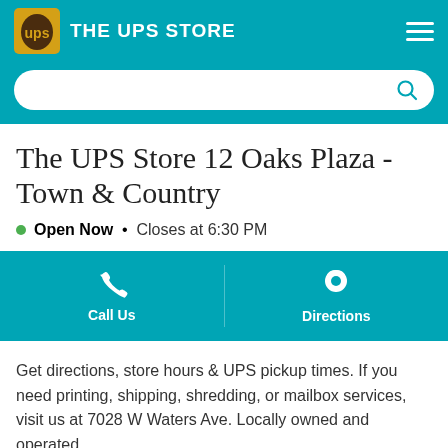THE UPS STORE
The UPS Store 12 Oaks Plaza - Town & Country
Open Now • Closes at 6:30 PM
Call Us
Directions
Get directions, store hours & UPS pickup times. If you need printing, shipping, shredding, or mailbox services, visit us at 7028 W Waters Ave. Locally owned and operated.
7028 W Waters Ave